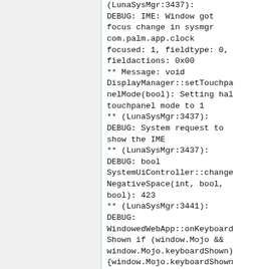(LunaSysMgr:3437):
DEBUG: IME: Window got focus change in sysmgr com.palm.app.clock focused: 1, fieldtype: 0, fieldactions: 0x00
** Message: void DisplayManager::setTouchpanelMode(bool): Setting hal touchpanel mode to 1
** (LunaSysMgr:3437):
DEBUG: System request to show the IME
** (LunaSysMgr:3437):
DEBUG: bool SystemUiController::changeNegativeSpace(int, bool, bool): 423
** (LunaSysMgr:3441):
DEBUG: WindowedWebApp::onKeyboardShown if (window.Mojo && window.Mojo.keyboardShown){window.Mojo.keyboardShown(true);}
** (LunaSysMgr:3437):